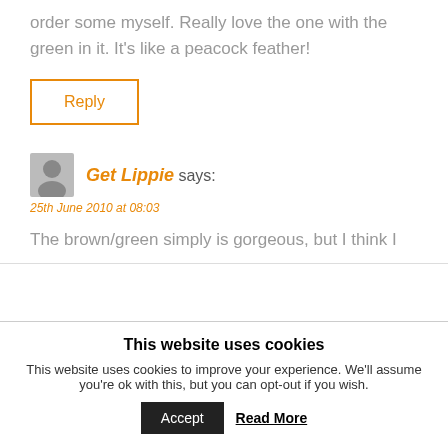Those are pretty f*ing fantastic! I am going to have to order some myself. Really love the one with the green in it. It's like a peacock feather!
Reply
Get Lippie says:
25th June 2010 at 08:03
The brown/green simply is gorgeous, but I think I
This website uses cookies
This website uses cookies to improve your experience. We'll assume you're ok with this, but you can opt-out if you wish.
Accept
Read More